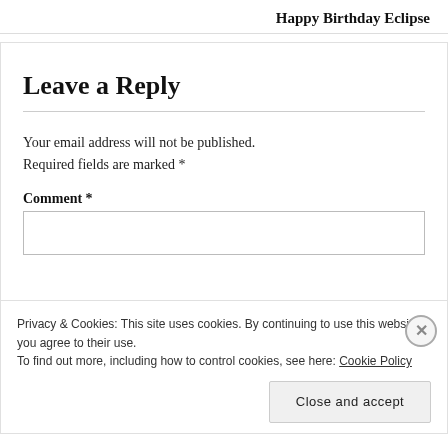Happy Birthday Eclipse
Leave a Reply
Your email address will not be published. Required fields are marked *
Comment *
Privacy & Cookies: This site uses cookies. By continuing to use this website, you agree to their use.
To find out more, including how to control cookies, see here: Cookie Policy
Close and accept